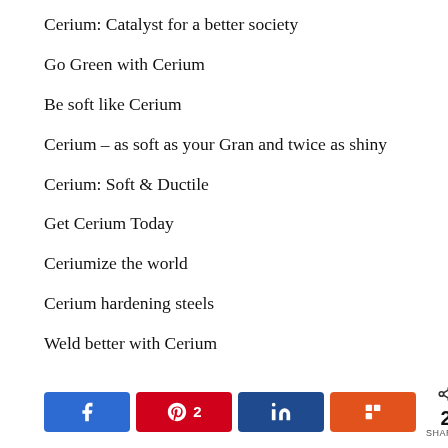Cerium: Catalyst for a better society
Go Green with Cerium
Be soft like Cerium
Cerium – as soft as your Gran and twice as shiny
Cerium: Soft & Ductile
Get Cerium Today
Ceriumize the world
Cerium hardening steels
Weld better with Cerium